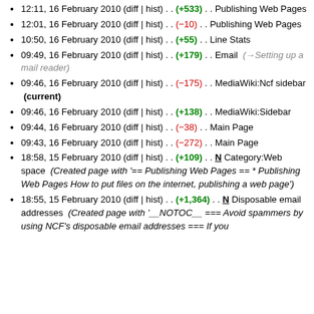12:11, 16 February 2010 (diff | hist) . . (+533) . . Publishing Web Pages
12:01, 16 February 2010 (diff | hist) . . (−10) . . Publishing Web Pages
10:50, 16 February 2010 (diff | hist) . . (+55) . . Line Stats
09:49, 16 February 2010 (diff | hist) . . (+179) . . Email  (→Setting up a mail reader)
09:46, 16 February 2010 (diff | hist) . . (−175) . . MediaWiki:Ncf sidebar  (current)
09:46, 16 February 2010 (diff | hist) . . (+138) . . MediaWiki:Sidebar
09:44, 16 February 2010 (diff | hist) . . (−38) . . Main Page
09:43, 16 February 2010 (diff | hist) . . (−272) . . Main Page
18:58, 15 February 2010 (diff | hist) . . (+109) . . N Category:Web space  (Created page with '== Publishing Web Pages == * Publishing Web Pages How to put files on the internet, publishing a web page')
18:55, 15 February 2010 (diff | hist) . . (+1,364) . . N Disposable email addresses  (Created page with '__NOTOC__ === Avoid spammers by using NCF's disposable email addresses === If you